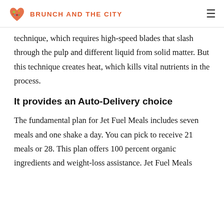BRUNCH AND THE CITY
technique, which requires high-speed blades that slash through the pulp and different liquid from solid matter. But this technique creates heat, which kills vital nutrients in the process.
It provides an Auto-Delivery choice
The fundamental plan for Jet Fuel Meals includes seven meals and one shake a day. You can pick to receive 21 meals or 28. This plan offers 100 percent organic ingredients and weight-loss assistance. Jet Fuel Meals